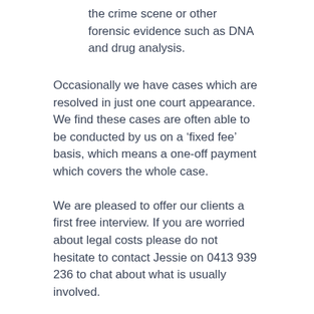the crime scene or other forensic evidence such as DNA and drug analysis.
Occasionally we have cases which are resolved in just one court appearance. We find these cases are often able to be conducted by us on a ‘fixed fee’ basis, which means a one-off payment which covers the whole case.
We are pleased to offer our clients a first free interview. If you are worried about legal costs please do not hesitate to contact Jessie on 0413 939 236 to chat about what is usually involved.
MAC BLOG
Trespass